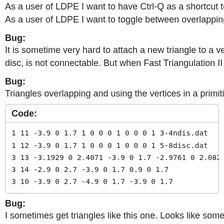As a user of LDPE I want to have Ctrl-Q as a shortcut to 'Merge to...
As a user of LDPE I want to toggle between overlapping surfaces, b...
Bug:
It is sometime very hard to attach a new triangle to a vertex in a pri... disc, is not connectable. But when Fast Triangulation II in activated...
Bug:
Triangles overlapping and using the vertices in a primitive is undete...
Code:
1 11 -3.9 0 1.7 1 0 0 0 1 0 0 0 1 3-4ndis.dat
1 12 -3.9 0 1.7 1 0 0 0 1 0 0 0 1 5-8disc.dat
3 13 -3.1929 0 2.4071 -3.9 0 1.7 -2.9761 0 2.0827
3 14 -2.9 0 2.7 -3.9 0 1.7 0.9 0 1.7
3 10 -3.9 0 2.7 -4.9 0 1.7 -3.9 0 1.7
Bug:
I sometimes get triangles like this one. Looks like some kind of rou...
Code:
3 16 -2900 0 1700 -3900 0 700 -2.181717 0 0.9578202...